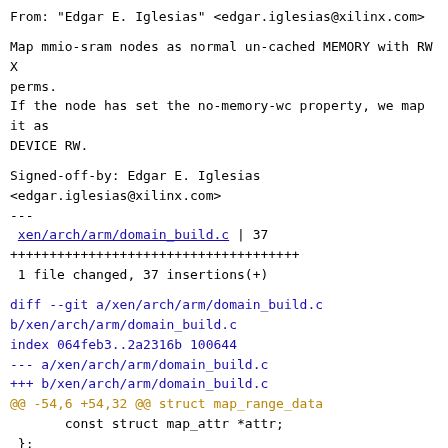From: "Edgar E. Iglesias" <edgar.iglesias@xilinx.com>
Map mmio-sram nodes as normal un-cached MEMORY with RWX
perms.
If the node has set the no-memory-wc property, we map
it as
DEVICE RW.
Signed-off-by: Edgar E. Iglesias
<edgar.iglesias@xilinx.com>
---
 xen/arch/arm/domain_build.c | 37
+++++++++++++++++++++++++++++++++++++
 1 file changed, 37 insertions(+)
diff --git a/xen/arch/arm/domain_build.c
b/xen/arch/arm/domain_build.c
index 064feb3..2a2316b 100644
--- a/xen/arch/arm/domain_build.c
+++ b/xen/arch/arm/domain_build.c
@@ -54,6 +54,32 @@ struct map_range_data
        const struct map_attr *attr;
 };

+static const struct map_attr mattr_device_rw
__initconst =
+{
+      .memattr = MATTR_DEV,
+      .access = p2m_access_rw,
+};